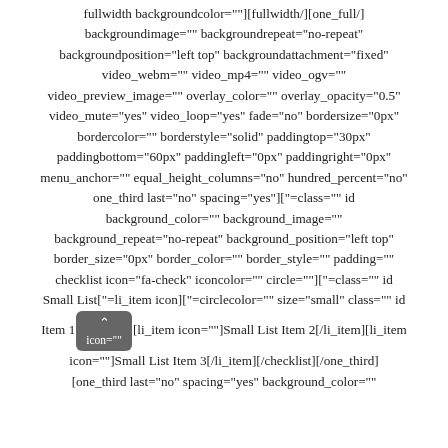fullwidth backgroundcolor=""][fullwidth/][one_full/] backgroundimage="" backgroundrepeat="no-repeat" backgroundposition="left top" backgroundattachment="fixed" video_webm="" video_mp4="" video_ogv="" video_preview_image="" overlay_color="" overlay_opacity="0.5" video_mute="yes" video_loop="yes" fade="no" bordersize="0px" bordercolor="" borderstyle="solid" paddingtop="30px" paddingbottom="60px" paddingleft="0px" paddingright="0px" menu_anchor="" equal_height_columns="no" hundred_percent="no" one_third last="no" spacing="yes"][""=class="" id background_color="" background_image="" background_repeat="no-repeat" background_position="left top" border_size="0px" border_color="" border_style="" padding="" checklist icon="fa-check" iconcolor="" circle=""][""=class="" id Small List[""=li_item icon][""=circlecolor="" size="small" class="" id Item 1[/li_item][li_item icon=""]Small List Item 2[/li_item][li_item icon=""]Small List Item 3[/li_item][/checklist][/one_third] [one_third last="no" spacing="yes" background_color=""